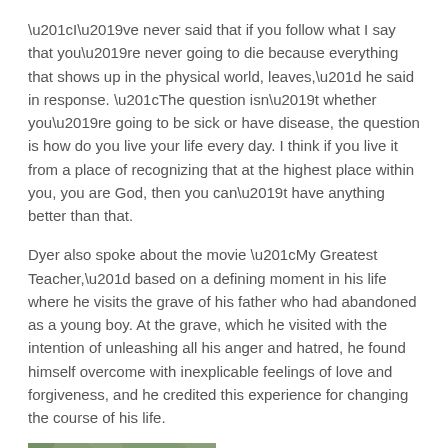“I’ve never said that if you follow what I say that you’re never going to die because everything that shows up in the physical world, leaves,” he said in response. “The question isn’t whether you’re going to be sick or have disease, the question is how do you live your life every day. I think if you live it from a place of recognizing that at the highest place within you, you are God, then you can’t have anything better than that.
Dyer also spoke about the movie “My Greatest Teacher,” based on a defining moment in his life where he visits the grave of his father who had abandoned as a young boy. At the grave, which he visited with the intention of unleashing all his anger and hatred, he found himself overcome with inexplicable feelings of love and forgiveness, and he credited this experience for changing the course of his life.
[Figure (photo): Photo of a person wearing a dark hat, outdoors with blurred green foliage background, cropped at bottom.]
“The reason it was a turning point in my life is